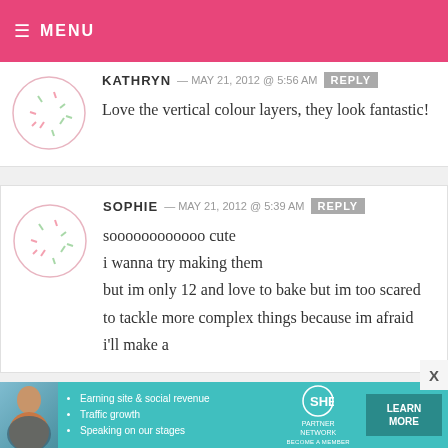MENU
KATHRYN — MAY 21, 2012 @ 5:56 AM  REPLY
Love the vertical colour layers, they look fantastic!
SOPHIE — MAY 21, 2012 @ 5:39 AM  REPLY
soooooooooooo cute
i wanna try making them
but im only 12 and love to bake but im too scared to tackle more complex things because im afraid i'll make a
[Figure (infographic): SHE Partner Network advertisement banner with photo, bullet points, logo, and learn more button]